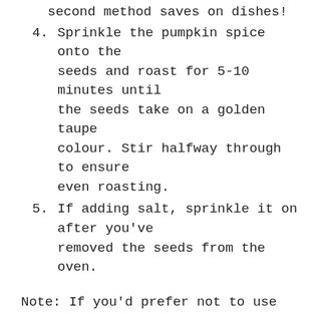second method saves on dishes!
4. Sprinkle the pumpkin spice onto the seeds and roast for 5-10 minutes until the seeds take on a golden taupe colour. Stir halfway through to ensure even roasting.
5. If adding salt, sprinkle it on after you've removed the seeds from the oven.
Note: If you'd prefer not to use pumpkin spice, use 2 teaspoons of cinnamon to replace.